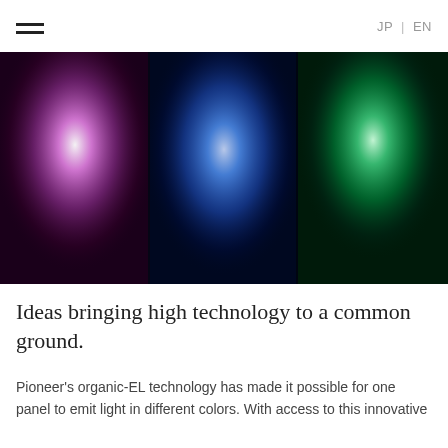JP | EN
[Figure (photo): Three glowing light panels side by side against a dark background: left panel glows purple/magenta, center panel glows blue, right panel glows green.]
Ideas bringing high technology to a common ground.
Pioneer's organic-EL technology has made it possible for one panel to emit light in different colors. With access to this innovative